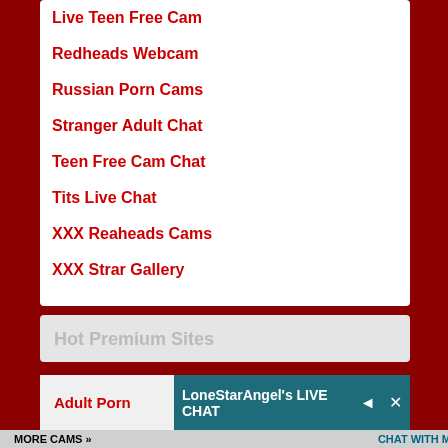Live Teen Free Cam
Redheads Webcam
Russian Porn Cams
Stranger Adult Chat
Teen Free Cam Chat
Tits Live Chat
XXX Reaheads Cams
XXX Strar Gallery
Hot Premium Sites
Adult Porn
LoneStarAngel's LIVE CHAT
CHAT WITH ME!
MORE CAMS »